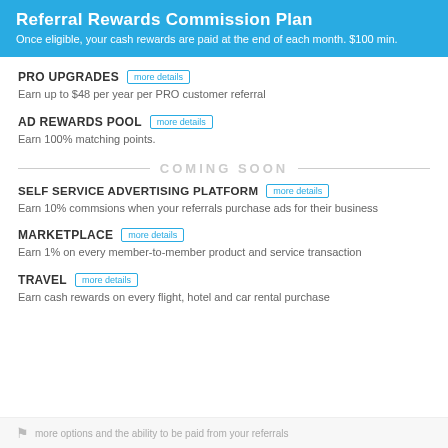Referral Rewards Commission Plan
Once eligible, your cash rewards are paid at the end of each month. $100 min.
PRO UPGRADES  more details
Earn up to $48 per year per PRO customer referral
AD REWARDS POOL  more details
Earn 100% matching points.
COMING SOON
SELF SERVICE ADVERTISING PLATFORM  more details
Earn 10% commsions when your referrals purchase ads for their business
MARKETPLACE  more details
Earn 1% on every member-to-member product and service transaction
TRAVEL  more details
Earn cash rewards on every flight, hotel and car rental purchase
more options and the ability to be paid from your referrals